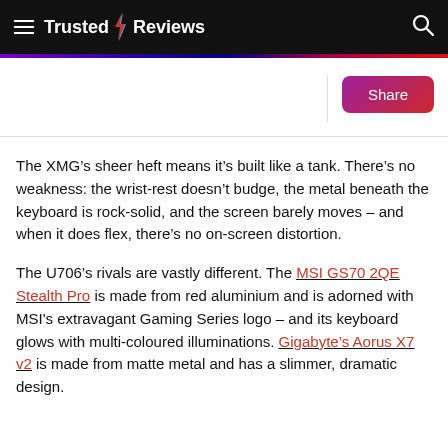Trusted Reviews
The XMG’s sheer heft means it’s built like a tank. There’s no weakness: the wrist-rest doesn’t budge, the metal beneath the keyboard is rock-solid, and the screen barely moves – and when it does flex, there’s no on-screen distortion.
The U706’s rivals are vastly different. The MSI GS70 2QE Stealth Pro is made from red aluminium and is adorned with MSI's extravagant Gaming Series logo – and its keyboard glows with multi-coloured illuminations. Gigabyte’s Aorus X7 v2 is made from matte metal and has a slimmer, dramatic design.